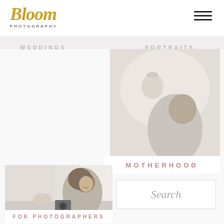[Figure (logo): Bloom Photography logo with gold script 'Bloom' text and 'PHOTOGRAPHY' in small caps beneath]
[Figure (other): Hamburger menu icon (three horizontal lines) in top right corner]
WEDDINGS    PORTRAITS
[Figure (photo): Black and white photo of a mother kissing her baby, both looking upward, soft light background]
MOTHERHOOD
[Figure (photo): Black and white photo of a smiling woman with curly hair sitting at a desk with a camera, bright airy studio setting]
FOR PHOTOGRAPHERS
[Figure (other): Search input box with italic placeholder text 'Search']